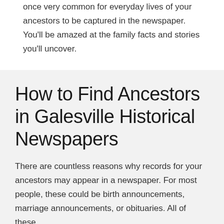once very common for everyday lives of your ancestors to be captured in the newspaper. You'll be amazed at the family facts and stories you'll uncover.
How to Find Ancestors in Galesville Historical Newspapers
There are countless reasons why records for your ancestors may appear in a newspaper. For most people, these could be birth announcements, marriage announcements, or obituaries. All of these